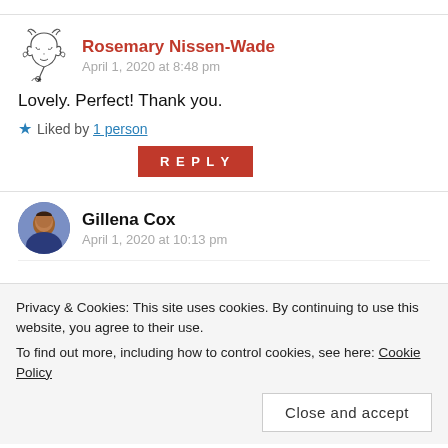[Figure (illustration): Dragon avatar icon for Rosemary Nissen-Wade]
Rosemary Nissen-Wade
April 1, 2020 at 8:48 pm
Lovely. Perfect! Thank you.
★ Liked by 1 person
REPLY
[Figure (photo): Profile photo of Gillena Cox]
Gillena Cox
April 1, 2020 at 10:13 pm
Privacy & Cookies: This site uses cookies. By continuing to use this website, you agree to their use.
To find out more, including how to control cookies, see here: Cookie Policy
Close and accept
Advertisements